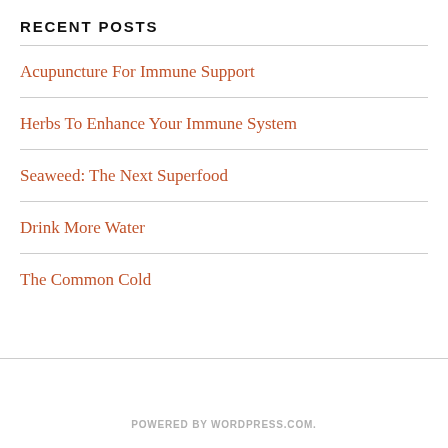RECENT POSTS
Acupuncture For Immune Support
Herbs To Enhance Your Immune System
Seaweed: The Next Superfood
Drink More Water
The Common Cold
POWERED BY WORDPRESS.COM.